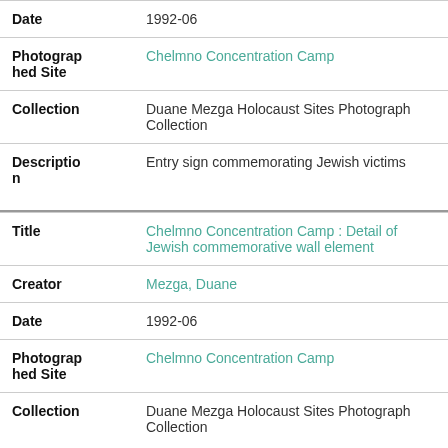| Date | 1992-06 |
| Photographed Site | Chelmno Concentration Camp |
| Collection | Duane Mezga Holocaust Sites Photograph Collection |
| Description | Entry sign commemorating Jewish victims |
| Title | Chelmno Concentration Camp : Detail of Jewish commemorative wall element |
| Creator | Mezga, Duane |
| Date | 1992-06 |
| Photographed Site | Chelmno Concentration Camp |
| Collection | Duane Mezga Holocaust Sites Photograph Collection |